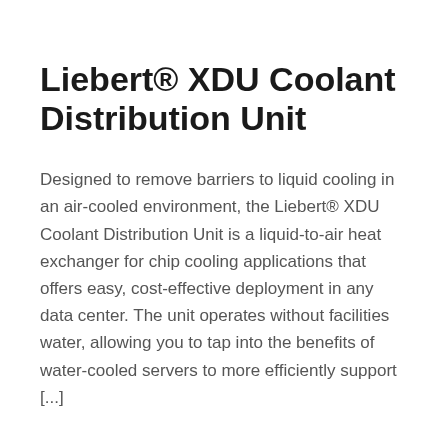Liebert® XDU Coolant Distribution Unit
Designed to remove barriers to liquid cooling in an air-cooled environment, the Liebert® XDU Coolant Distribution Unit is a liquid-to-air heat exchanger for chip cooling applications that offers easy, cost-effective deployment in any data center. The unit operates without facilities water, allowing you to tap into the benefits of water-cooled servers to more efficiently support [...]